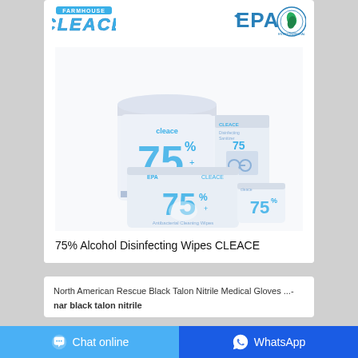[Figure (photo): CLEACE brand logo with blue stylized text at top left of product card]
[Figure (logo): EPA logo and environmental protection circular badge at top right of product card]
[Figure (photo): Product image showing multiple CLEACE 75% Alcohol Disinfecting Wipes products including a canister, flat pack, individual packets on white background]
75% Alcohol Disinfecting Wipes CLEACE
North American Rescue Black Talon Nitrile Medical Gloves ...- nar black talon nitrile
Chat online
WhatsApp